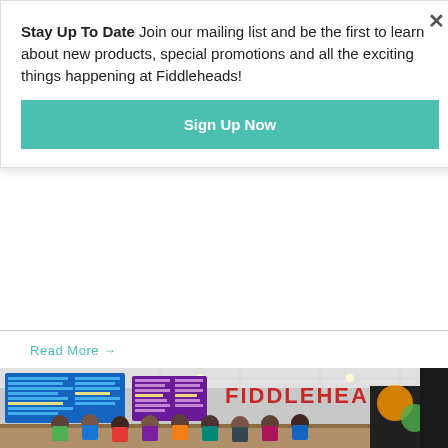Stay Up To Date Join our mailing list and be the first to learn about new products, special promotions and all the exciting things happening at Fiddleheads!
Sign Up Now
Read More →
[Figure (photo): Interior of Fiddleheads restaurant/cafe showing digital menu boards with blue and purple displays, large red FIDDLEHEADS lettering sign above the counter, recessed ceiling lights, and a group of staff standing behind the counter. A colorful mural is partially visible on the right side.]